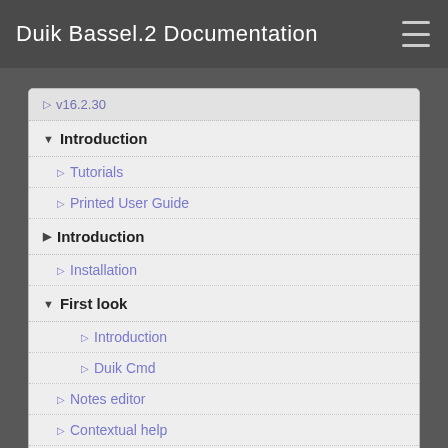Duik Bassel.2 Documentation
▷ v16.2.30
▼ Introduction
▷ Tutorials
▷ Printed User Guide
▶ Introduction
▷ Installation
▼ First look
▷ Introduction
▷ Duik Cmd
▷ Notes editor
▷ Contextual help
▷ Performance
▶ Panels
▶ Development